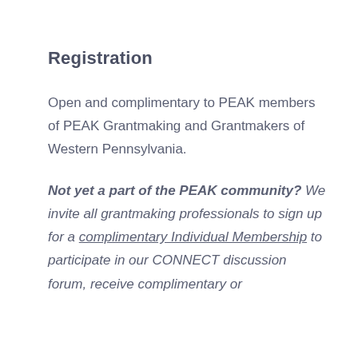Registration
Open and complimentary to PEAK members of PEAK Grantmaking and Grantmakers of Western Pennsylvania.
Not yet a part of the PEAK community? We invite all grantmaking professionals to sign up for a complimentary Individual Membership to participate in our CONNECT discussion forum, receive complimentary or